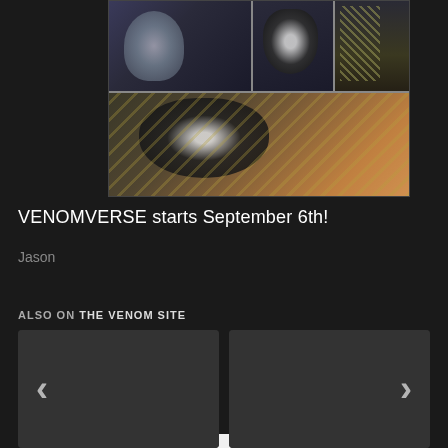[Figure (illustration): Comic book panel artwork showing Venom and related symbiote characters in black and white color scheme with action poses. Multiple panels in a grid layout with a white bar at the bottom.]
VENOMVERSE starts September 6th!
Jason
ALSO ON THE VENOM SITE
[Figure (screenshot): Two dark card placeholders in a carousel layout with left and right navigation arrows.]